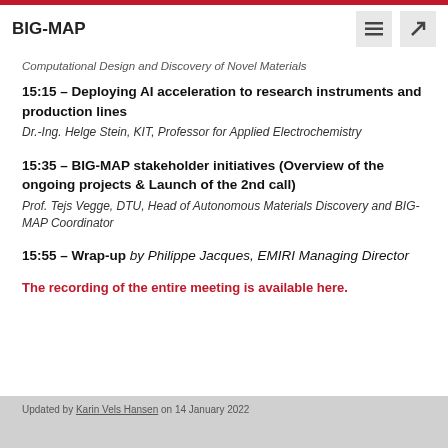BIG-MAP
Computational Design and Discovery of Novel Materials
15:15 – Deploying AI acceleration to research instruments and production lines
Dr.-Ing. Helge Stein, KIT, Professor for Applied Electrochemistry
15:35 – BIG-MAP stakeholder initiatives (Overview of the ongoing projects & Launch of the 2nd call)
Prof. Tejs Vegge, DTU, Head of Autonomous Materials Discovery and BIG-MAP Coordinator
15:55 – Wrap-up by Philippe Jacques, EMIRI Managing Director
The recording of the entire meeting is available here.
Updated by Karin Vels Hansen on 14 January 2022